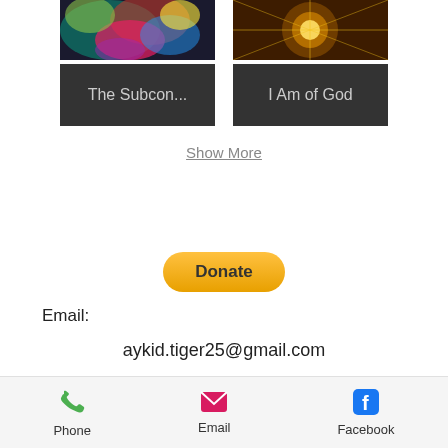[Figure (illustration): Two art gallery items side by side. Left: colorful abstract painting thumbnail with dark label 'The Subcon...'. Right: golden radial pattern thumbnail with dark label 'I Am of God'.]
The Subcon...
I Am of God
Show More
[Figure (illustration): PayPal Donate button, yellow/gold pill-shaped button with bold text 'Donate']
Email:
aykid.tiger25@gmail.com
Phone  Email  Facebook